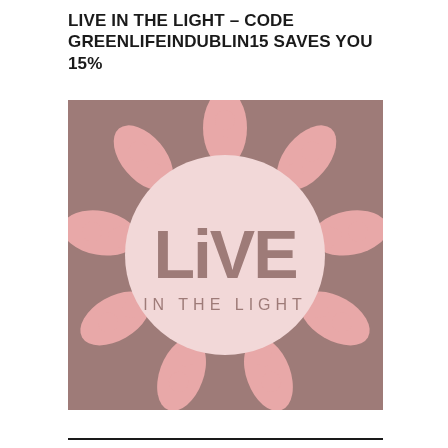LIVE IN THE LIGHT – CODE GREENLIFEINDUBLIN15 SAVES YOU 15%
[Figure (logo): Live In The Light brand logo: a mauve/brown square background with a pink stylized sun shape (rays with curled tips) surrounding a light pink circle containing the text 'LiVE' in large brownish font and 'IN THE LIGHT' in smaller spaced capitals beneath.]